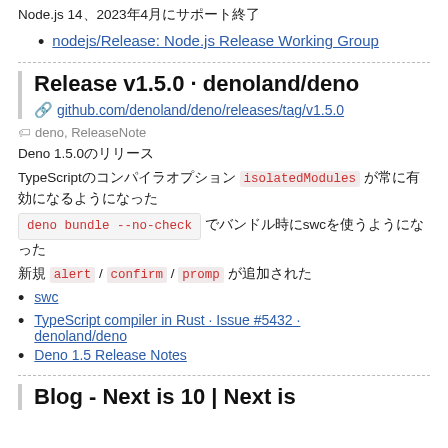Node.js 14、2023年4月にサポート終了
nodejs/Release: Node.js Release Working Group
Release v1.5.0 · denoland/deno
github.com/denoland/deno/releases/tag/v1.5.0
deno,  ReleaseNote
Deno 1.5.0のリリース
TypeScriptのコンパイラオプション isolatedModules が常に有効になるようになった
deno bundle --no-check でバンドル時にswcを使うようになった
新規 alert / confirm / promp が追加された
swc
TypeScript compiler in Rust · Issue #5432 · denoland/deno
Deno 1.5 Release Notes
Blog - Next is 10 | Next is